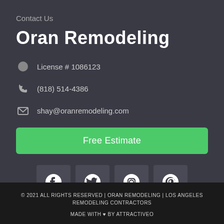Contact Us
Oran Remodeling
License # 1086123
(818) 514-4386
shay@oranremodeling.com
Free Estimate
[Figure (infographic): Social media icons: Facebook, Twitter, Instagram, Pinterest]
© 2021 ALL RIGHTS RESERVED | ORAN REMODELING | LOS ANGELES REMODELING CONTRACTORS
MADE WITH ♥ BY ATTRACTIVEO